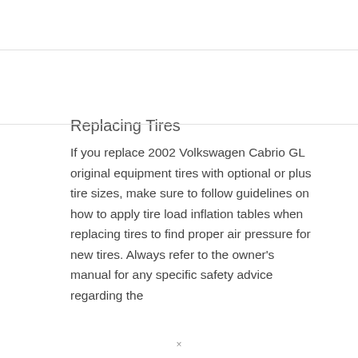Replacing Tires
If you replace 2002 Volkswagen Cabrio GL original equipment tires with optional or plus tire sizes, make sure to follow guidelines on how to apply tire load inflation tables when replacing tires to find proper air pressure for new tires. Always refer to the owner’s manual for any specific safety advice regarding the